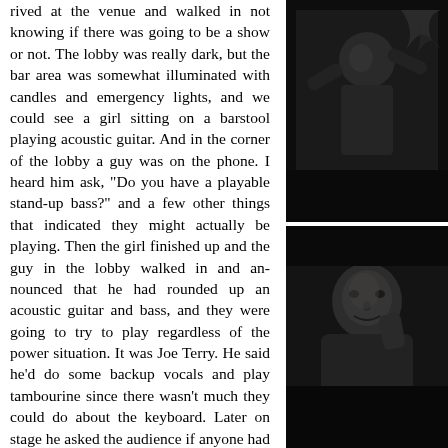rived at the venue and walked in not knowing if there was going to be a show or not. The lobby was really dark, but the bar area was somewhat illuminated with candles and emergency lights, and we could see a girl sitting on a barstool playing acoustic guitar. And in the corner of the lobby a guy was on the phone. I heard him ask, "Do you have a playable stand-up bass?" and a few other things that indicated they might actually be playing. Then the girl finished up and the guy in the lobby walked in and announced that he had rounded up an acoustic guitar and bass, and they were going to try to play regardless of the power situation. It was Joe Terry. He said he'd do some backup vocals and play tambourine since there wasn't much they could do about the keyboard. Later on stage he asked the audience if anyone had an accordion. We laughed and he
[Figure (photo): Black and white photo, top right, showing a person in dark lighting, concert/venue setting]
[Figure (photo): Black and white photo, bottom right, showing a person's face/upper body in dark lighting]